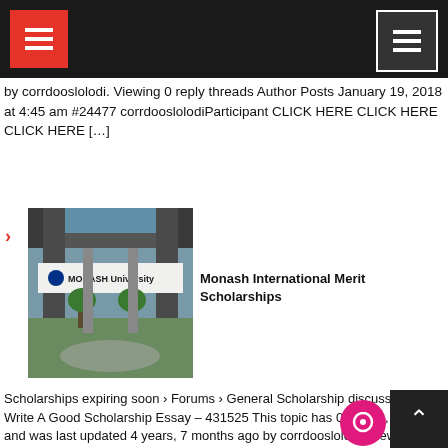Navigation bar with hamburger menus
by corrdooslolodi. Viewing 0 reply threads Author Posts January 19, 2018 at 4:45 am #24477 corrdooslolodiParticipant CLICK HERE CLICK HERE CLICK HERE […]
[Figure (photo): Monash University building entrance with sign]
Monash International Merit Scholarships
Scholarships expiring soon › Forums › General Scholarship discussion › Write A Good Scholarship Essay – 431525 This topic has 0 replies, 1 voice, and was last updated 4 years, 7 months ago by corrdooslolodi. Viewing 0 reply threads Author Posts January 19, 2018 at 4:45 am #24477 corrdooslolodiParticipant CLICK HERE CLICK HERE CLICK HERE […]